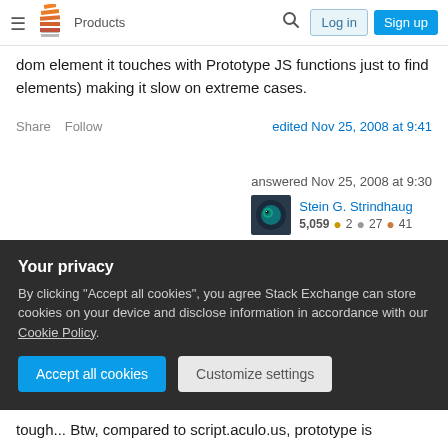Stack Overflow navigation bar with Products, Log in, Sign up
dom element it touches with Prototype JS functions just to find elements) making it slow on extreme cases.
Share  Follow    edited Nov 25, 2008 at 9:41
answered Nov 25, 2008 at 9:30
Stein G. Strindhaug
5,059 ●2 ●27 ●41
Your privacy
By clicking "Accept all cookies", you agree Stack Exchange can store cookies on your device and disclose information in accordance with our Cookie Policy.
Accept all cookies  Customize settings
tough... Btw, compared to script.aculo.us, prototype is